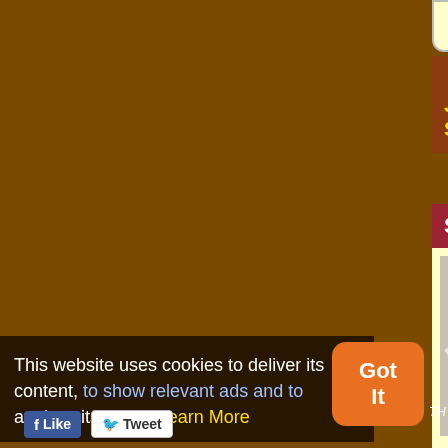quiz questions >>
< 30 Jul | 1 Aug >
JULY 31 – BIRTHS –
Scientists born on July
Stephanie Kwolek
[Figure (photo): Photo of Stephanie Kwolek holding a molecular model structure]
(source)
Born 31 Jul 1923; died 18 Jun 2014 at age 90. Quotes
quotes
American chemist and inventor of Kevlar. Shortly after graduating with a bachelor's degree in chemistry (1946), she began a career at DuPont's textile
This website uses cookies to deliver its content, to show relevant ads and to analyze its traffic. Learn More
Got It
Tweet